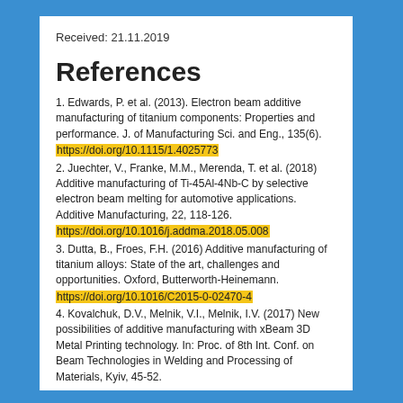Received: 21.11.2019
References
1. Edwards, P. et al. (2013). Electron beam additive manufacturing of titanium components: Properties and performance. J. of Manufacturing Sci. and Eng., 135(6). https://doi.org/10.1115/1.4025773
2. Juechter, V., Franke, M.M., Merenda, T. et al. (2018) Additive manufacturing of Ti-45Al-4Nb-C by selective electron beam melting for automotive applications. Additive Manufacturing, 22, 118-126. https://doi.org/10.1016/j.addma.2018.05.008
3. Dutta, B., Froes, F.H. (2016) Additive manufacturing of titanium alloys: State of the art, challenges and opportunities. Oxford, Butterworth-Heinemann. https://doi.org/10.1016/C2015-0-02470-4
4. Kovalchuk, D.V., Melnik, V.I., Melnik, I.V. (2017) New possibilities of additive manufacturing with xBeam 3D Metal Printing technology. In: Proc. of 8th Int. Conf. on Beam Technologies in Welding and Processing of Materials, Kyiv, 45-52.